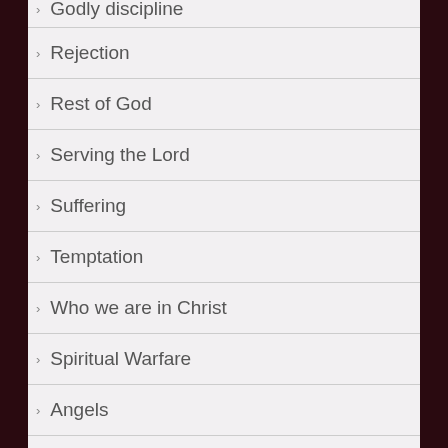Godly discipline
Rejection
Rest of God
Serving the Lord
Suffering
Temptation
Who we are in Christ
Spiritual Warfare
Angels
Armour of God
Demons
God delivers
H...